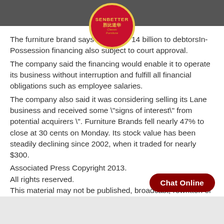[Figure (logo): Senbetter Classic Furniture logo — red oval with gold border, gold crown at top, text 'SENBETTER' and Chinese characters '胜比道华', tagline 'Classic Furniture']
The furniture brand says it owe $0. 14 billion to debtorsIn-Possession financing also subject to court approval. The company said the financing would enable it to operate its business without interruption and fulfill all financial obligations such as employee salaries. The company also said it was considering selling its Lane business and received some "signs of interest" from potential acquirers ". Furniture Brands fell nearly 47% to close at 30 cents on Monday. Its stock value has been steadily declining since 2002, when it traded for nearly $300.
Associated Press Copyright 2013.
All rights reserved.
This material may not be published, broadcast, rewritten or re-distributed.